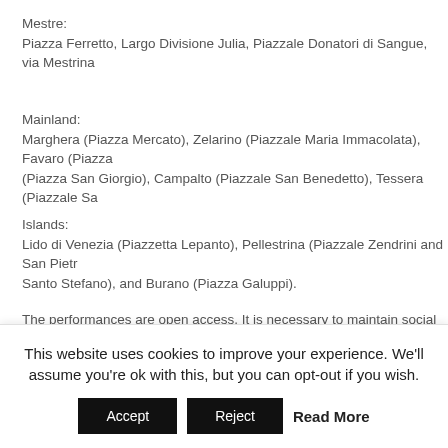Mestre:
Piazza Ferretto, Largo Divisione Julia, Piazzale Donatori di Sangue, via Mestrina
Mainland:
Marghera (Piazza Mercato), Zelarino (Piazzale Maria Immacolata), Favaro (Piaz... (Piazza San Giorgio), Campalto (Piazzale San Benedetto), Tessera (Piazzale Sa...
Islands:
Lido di Venezia (Piazzetta Lepanto), Pellestrina (Piazzale Zendrini and San Pietr... Santo Stefano), and Burano (Piazza Galuppi).
The performances are open access. It is necessary to maintain social distancing correctly. The presence of personnel responsible for the observation and protection is envisaged: the activity may be suspended in the event that conditions for safe pe...
REMEMBER THE FUTURE
Nebula Solaris
The Venetian Water Festival moves to the Arsenal in an inimitable open-air theat...
This website uses cookies to improve your experience. We'll assume you're ok with this, but you can opt-out if you wish.